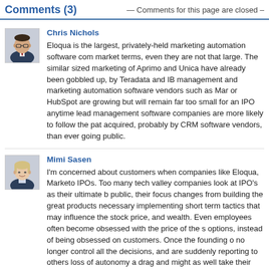Comments (3) — Comments for this page are closed —
[Figure (photo): Profile photo of Chris Nichols, a man wearing glasses and a suit]
Chris Nichols
Eloqua is the largest, privately-held marketing automation software com... market terms, even they are not that large. The similar sized marketing of Aprimo and Unica have already been gobbled up, by Teradata and IB management and marketing automation software vendors such as Mar or HubSpot are growing but will remain far too small for an IPO anytime lead management software companies are more likely to follow the pat acquired, probably by CRM software vendors, than ever going public.
[Figure (photo): Profile photo of Mimi Sasen, a woman in professional attire]
Mimi Sasen
I'm concerned about customers when companies like Eloqua, Marketo IPOs. Too many tech valley companies look at IPO's as their ultimate b public, their focus changes from building the great products necessary implementing short term tactics that may influence the stock price, and wealth. Even employees often become obsessed with the price of the s options, instead of being obsessed on customers. Once the founding o no longer control all the decisions, and are suddenly reporting to others loss of autonomy a drag and might as well take their new money and c some time off or the next start-up. Few tech companies of the small siz HubSpot could continue their passion and pace of innovation or custom Bringing in a new crew of executive managers comes with a host of ne none of which are good for customers.